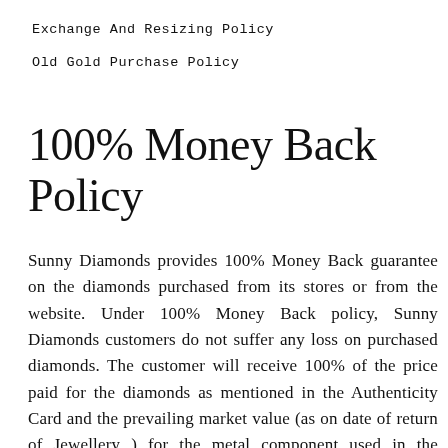Exchange And Resizing Policy
Old Gold Purchase Policy
100% Money Back Policy
Sunny Diamonds provides 100% Money Back guarantee on the diamonds purchased from its stores or from the website. Under 100% Money Back policy, Sunny Diamonds customers do not suffer any loss on purchased diamonds. The customer will receive 100% of the price paid for the diamonds as mentioned in the Authenticity Card and the prevailing market value (as on date of return of Jewellery ) for the metal component used in the diamond jewellery, when the jewellery is returned within 12 months from the date of purchase. In case of jewellery returned after 12 months from the date of purchase, the Customer